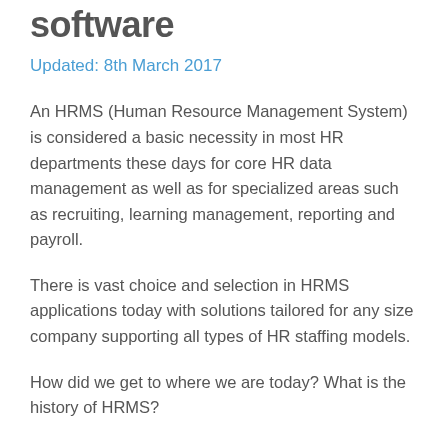software
Updated: 8th March 2017
An HRMS (Human Resource Management System) is considered a basic necessity in most HR departments these days for core HR data management as well as for specialized areas such as recruiting, learning management, reporting and payroll.
There is vast choice and selection in HRMS applications today with solutions tailored for any size company supporting all types of HR staffing models.
How did we get to where we are today? What is the history of HRMS?